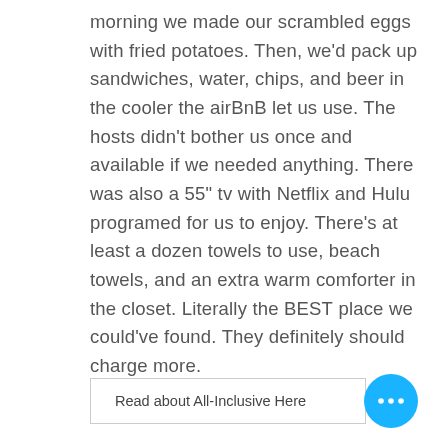morning we made our scrambled eggs with fried potatoes. Then, we'd pack up sandwiches, water, chips, and beer in the cooler the airBnB let us use. The hosts didn't bother us once and available if we needed anything. There was also a 55" tv with Netflix and Hulu programed for us to enjoy. There's at least a dozen towels to use, beach towels, and an extra warm comforter in the closet. Literally the BEST place we could've found. They definitely should charge more.
Read about All-Inclusive Here